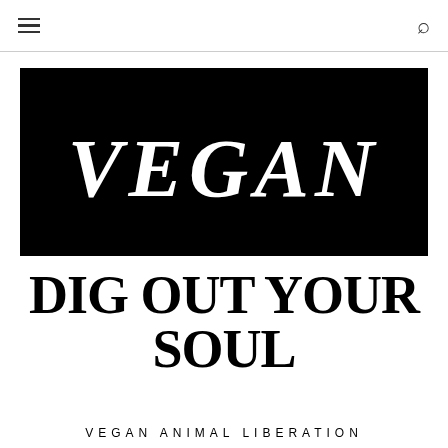☰  🔍
[Figure (illustration): Black background banner image with the word VEGAN written in large white decorative letters shaped like animal silhouettes (rabbit, cat, etc.)]
DIG OUT YOUR SOUL
VEGAN ANIMAL LIBERATION